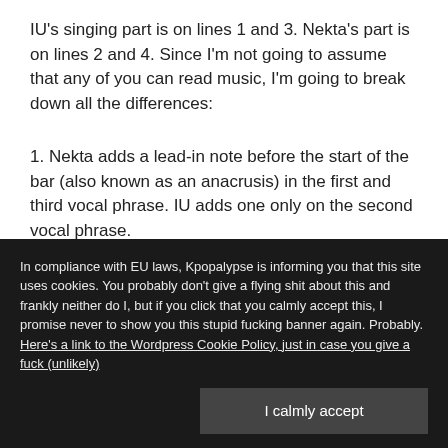IU's singing part is on lines 1 and 3.  Nekta's part is on lines 2 and 4.  Since I'm not going to assume that any of you can read music, I'm going to break down all the differences:
1.  Nekta adds a lead-in note before the start of the bar (also known as an anacrusis) in the first and third vocal phrase.  IU adds one only on the second vocal phrase.
2.  IU raises the pitch of the third vocal phrase up by one semitone, to F#, whereas Nekta stays on F.
In compliance with EU laws, Kpopalypse is informing you that this site uses cookies. You probably don't give a flying shit about this and frankly neither do I, but if you click that you calmly accept this, I promise never to show you this stupid fucking banner again. Probably. Here's a link to the Wordpress Cookie Policy, just in case you give a fuck (unlikely)
natural pitch bend.